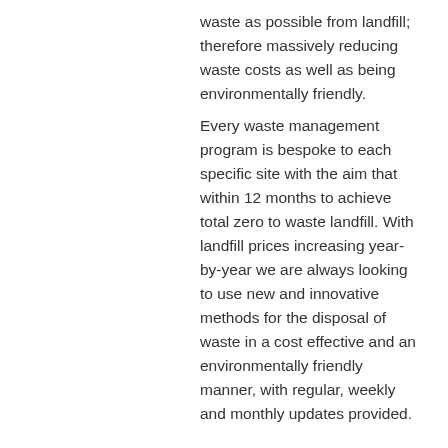waste as possible from landfill; therefore massively reducing waste costs as well as being environmentally friendly.
Every waste management program is bespoke to each specific site with the aim that within 12 months to achieve total zero to waste landfill. With landfill prices increasing year-by-year we are always looking to use new and innovative methods for the disposal of waste in a cost effective and an environmentally friendly manner, with regular, weekly and monthly updates provided.